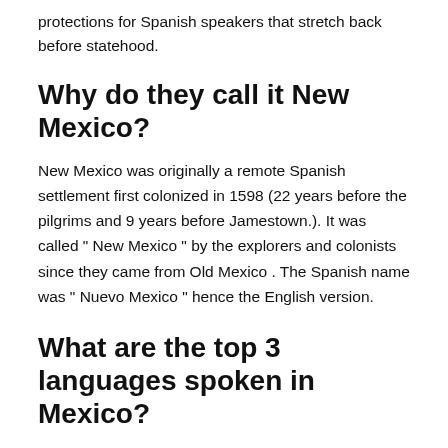protections for Spanish speakers that stretch back before statehood.
Why do they call it New Mexico?
New Mexico was originally a remote Spanish settlement first colonized in 1598 (22 years before the pilgrims and 9 years before Jamestown.). It was called " New Mexico " by the explorers and colonists since they came from Old Mexico . The Spanish name was " Nuevo Mexico " hence the English version.
What are the top 3 languages spoken in Mexico?